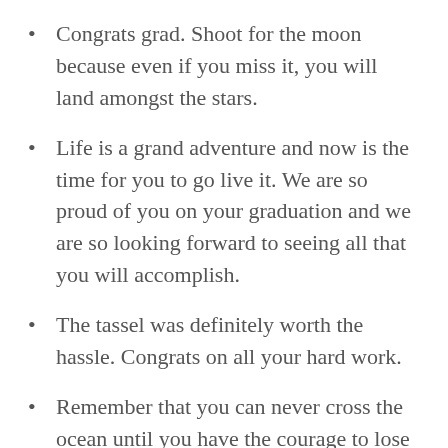Congrats grad. Shoot for the moon because even if you miss it, you will land amongst the stars.
Life is a grand adventure and now is the time for you to go live it. We are so proud of you on your graduation and we are so looking forward to seeing all that you will accomplish.
The tassel was definitely worth the hassle. Congrats on all your hard work.
Remember that you can never cross the ocean until you have the courage to lose sight of the shore. Congratulations on your graduation sweetheart, we couldn't be more